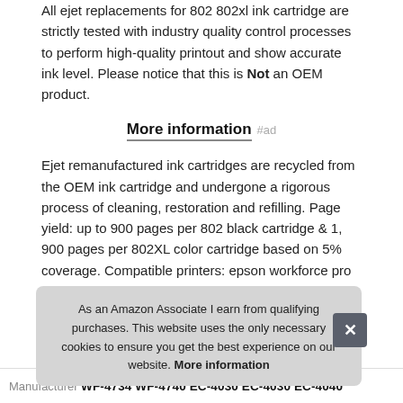All ejet replacements for 802 802xl ink cartridge are strictly tested with industry quality control processes to perform high-quality printout and show accurate ink level. Please notice that this is Not an OEM product.
More information #ad
Ejet remanufactured ink cartridges are recycled from the OEM ink cartridge and undergone a rigorous process of cleaning, restoration and refilling. Page yield: up to 900 pages per 802 black cartridge & 1, 900 pages per 802XL color cartridge based on 5% coverage. Compatible printers: epson workforce pro wf-4720, ec-4020, wf-4730, wf-4740, wf-4734, ec-4030, EC-4040 All-In-One Printers.
As an Amazon Associate I earn from qualifying purchases. This website uses the only necessary cookies to ensure you get the best experience on our website. More information
| Manufacturer |  |
| --- | --- |
| Manufacturer | WF-4734 WF-4740 EC-4030 EC-4030 EC-4040 |